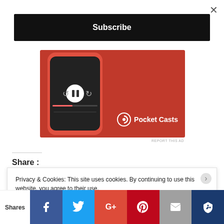×
Subscribe
[Figure (screenshot): Pocket Casts app advertisement showing a red phone with audio controls on a red background, with Pocket Casts logo and brand name on the right side]
REPORT THIS AD
Share :
[Figure (infographic): Row of social share icon circles: Twitter (blue), Facebook (dark blue), LinkedIn (teal), Pinterest (red), Telegram (dark), and a light blue more options icon]
Privacy & Cookies: This site uses cookies. By continuing to use this website, you agree to their use.
To find out more, including how to control cookies, see here: Cookie Policy
Shares
[Figure (infographic): Bottom share bar with Facebook, Twitter, Google+, Pinterest, Email, and Crown icons in colored blocks]